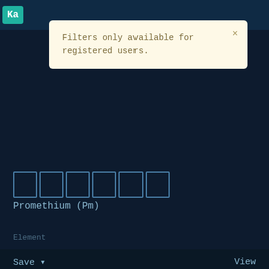[Figure (screenshot): Dark blue web application UI showing a notification popup, element entries for Promethium (Pm) and Nobelium (No) with kanji character boxes, and Save/View controls.]
Filters only available for registered users.
Promethium (Pm)
Element
Save ▼
View
Nobelium (No)